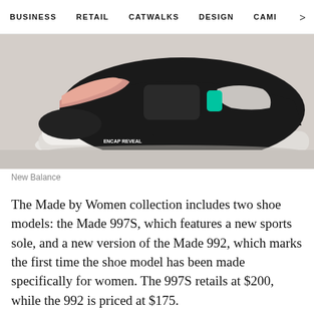BUSINESS   RETAIL   CATWALKS   DESIGN   CAMI   >
[Figure (photo): Close-up side view of a New Balance sneaker (997S) with black suede upper, teal/mint accent, pink collar, and white sole with ENCAP REVEAL branding on a light grey background.]
New Balance
The Made by Women collection includes two shoe models: the Made 997S, which features a new sports sole, and a new version of the Made 992, which marks the first time the shoe model has been made specifically for women. The 997S retails at $200, while the 992 is priced at $175.